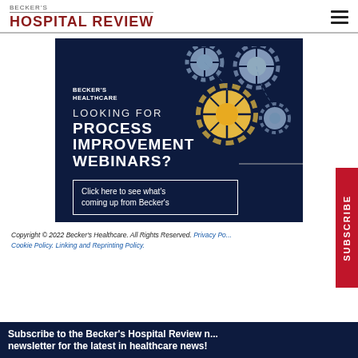BECKER'S HOSPITAL REVIEW
[Figure (infographic): Becker's Healthcare advertisement banner on dark navy background featuring gears illustration and text: BECKER'S HEALTHCARE / LOOKING FOR / PROCESS IMPROVEMENT WEBINARS? / Click here to see what's coming up from Becker's]
Copyright © 2022 Becker's Healthcare. All Rights Reserved. Privacy Policy. Cookie Policy. Linking and Reprinting Policy.
Subscribe to the Becker's Hospital Review newsletter for the latest in healthcare news!